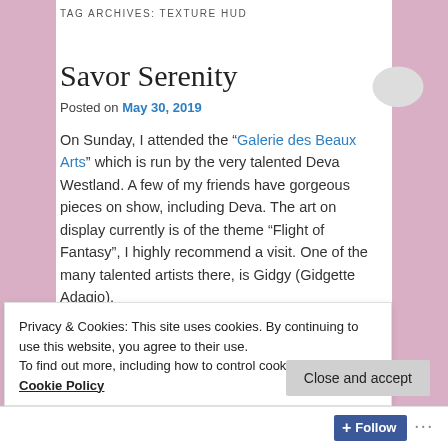TAG ARCHIVES: TEXTURE HUD
Savor Serenity
Posted on May 30, 2019
On Sunday, I attended the “Galerie des Beaux Arts” which is run by the very talented Deva Westland. A few of my friends have gorgeous pieces on show, including Deva. The art on display currently is of the theme “Flight of Fantasy”, I highly recommend a visit. One of the many talented artists there, is Gidgy (Gidgette Adagio).
Privacy & Cookies: This site uses cookies. By continuing to use this website, you agree to their use.
To find out more, including how to control cookies, see here: Cookie Policy
Close and accept
Follow